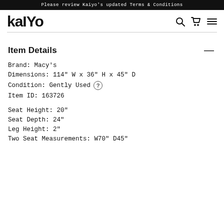Please review Kaiyo's updated Terms & Conditions
[Figure (logo): Kaiyo logo in bold black lowercase letters with search, cart, and menu icons]
Item Details
Brand: Macy's
Dimensions: 114" W x 36" H x 45" D
Condition: Gently Used ?
Item ID: 163726
Seat Height: 20"
Seat Depth: 24"
Leg Height: 2"
Two Seat Measurements: W70" D45"